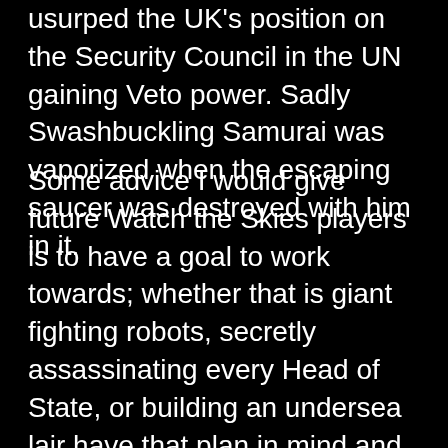usurped the UK's position on the Security Council in the UN gaining Veto power. Sadly Swashbuckling Samurai was vaporized when the escaping saucer was destroyed with him in it.
Some advice I would give future Watch the Skies players is to have a goal to work towards; whether that is giant fighting robots, secretly assassinating every Head of State, or building an undersea lair have that plan in mind and go to the game controllers with it. The unscripted, improve nature of the game means no-one is there to hold your hand, so you need to take charge and at least have a starting point. Secondly, use Whats-App or another messaging app to stay in the know. I don't know how many times we collectively knew things before the other teams (like when the US President was assassinated, Swashbuckling Samurai actually gave his condolences before the US Foreign Minister had heard the news). Finally, look the part. Team Japan all wore suits